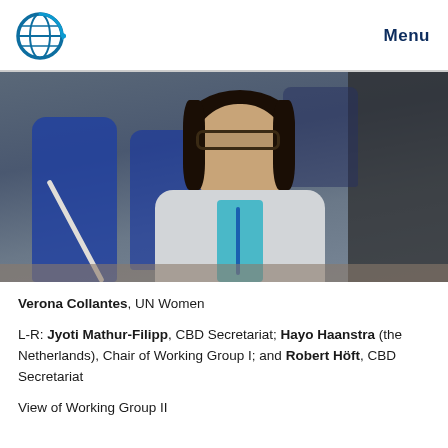Menu
[Figure (photo): Woman speaking at a conference table, wearing glasses and a grey jacket with a teal top, blue chairs visible in background]
Verona Collantes, UN Women
L-R: Jyoti Mathur-Filipp, CBD Secretariat; Hayo Haanstra (the Netherlands), Chair of Working Group I; and Robert Höft, CBD Secretariat
View of Working Group II